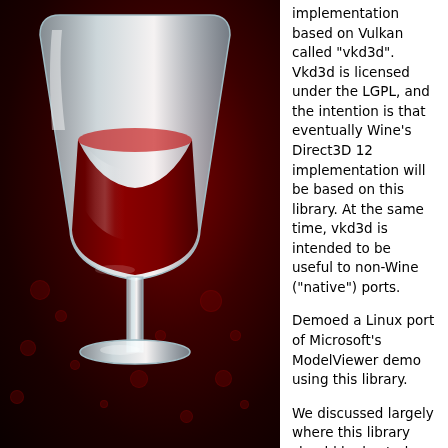[Figure (illustration): Wine application logo: a white/light blue wine glass with red wine on a dark red background with subtle bubble decorations]
implementation based on Vulkan called "vkd3d". Vkd3d is licensed under the LGPL, and the intention is that eventually Wine's Direct3D 12 implementation will be based on this library. At the same time, vkd3d is intended to be useful to non-Wine ("native") ports.
Demoed a Linux port of Microsoft's ModelViewer demo using this library.
We discussed largely where this library should be hosted.
Wine Staging
Wine Staging patchset is growing, more stuff should also go to regular wine. Sadly the maintainers of wine staging were not there.
We need to focus more on getting patches into mainline. Subsystem